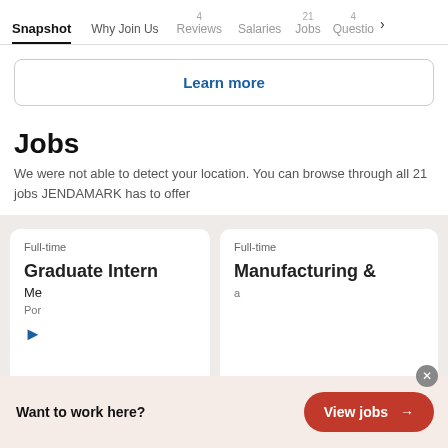Snapshot | Why Join Us | 4 Reviews | Salaries | 21 Jobs | 4 Questio >
Learn more
Jobs
We were not able to detect your location. You can browse through all 21 jobs JENDAMARK has to offer
Full-time
Graduate Intern
Me...
Por...
Full-time
Manufacturing &...
Want to work here?
View jobs →